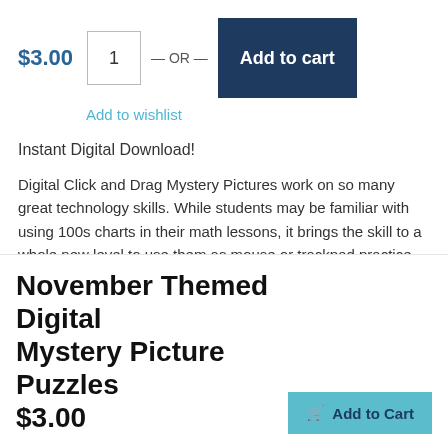$3.00
1 — OR — Add to cart
Add to wishlist
Instant Digital Download!
Digital Click and Drag Mystery Pictures work on so many great technology skills. While students may be familiar with using 100s charts in their math lessons, it brings the skill to a whole new level to use them as mouse or trackpad practice. This set includes 5 November/Thanksgiving themed designs in 2 different
November Themed Digital Mystery Picture Puzzles
$3.00
Add to Cart